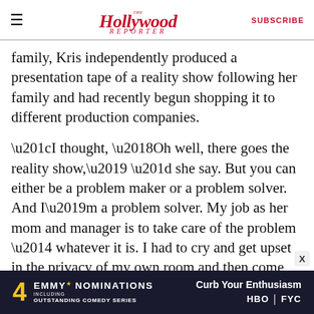The Hollywood Reporter | SUBSCRIBE
family, Kris independently produced a presentation tape of a reality show following her family and had recently begun shopping it to different production companies.
“I thought, ‘Oh well, there goes the reality show,’ ” she say. But you can either be a problem maker or a problem solver. And I’m a problem solver. My job as her mom and manager is to take care of the problem — whatever it is. I had to cry and get upset in the privacy of my own room and then come out and help her, because she’s my daughter. What good is it for me to berate her?”
[Figure (infographic): Advertisement banner: '4 EMMY NOMINATIONS INCLUDING OUTSTANDING COMEDY SERIES — Curb Your Enthusiasm HBO FYC' on dark navy background with gold accents]